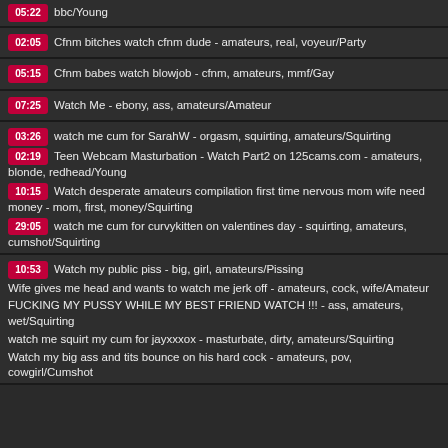05:22 bbc/Young
02:05 Cfnm bitches watch cfnm dude - amateurs, real, voyeur/Party
05:15 Cfnm babes watch blowjob - cfnm, amateurs, mmf/Gay
07:25 Watch Me - ebony, ass, amateurs/Amateur
03:26 watch me cum for SarahW - orgasm, squirting, amateurs/Squirting
02:19 Teen Webcam Masturbation - Watch Part2 on 125cams.com - amateurs, blonde, redhead/Young
10:15 Watch desperate amateurs compilation first time nervous mom wife need money - mom, first, money/Squirting
29:05 watch me cum for curvykitten on valentines day - squirting, amateurs, cumshot/Squirting
10:53 Watch my public piss - big, girl, amateurs/Pissing
Wife gives me head and wants to watch me jerk off - amateurs, cock, wife/Amateur
FUCKING MY PUSSY WHILE MY BEST FRIEND WATCH !!! - ass, amateurs, wet/Squirting
watch me squirt my cum for jayxxxox - masturbate, dirty, amateurs/Squirting
Watch my big ass and tits bounce on his hard cock - amateurs, pov, cowgirl/Cumshot